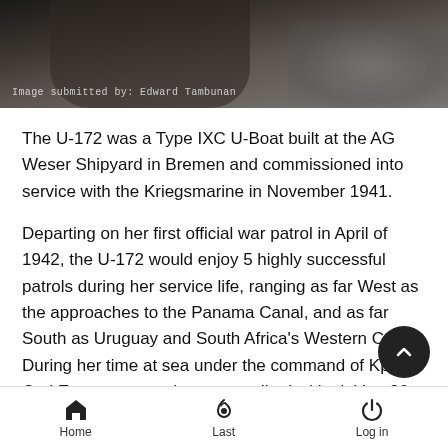[Figure (photo): Dark photograph of a person, partially visible, appears to be a wartime/historical image. Caption reads: Image submitted by: Edward Tambunan]
Image submitted by: Edward Tambunan
The U-172 was a Type IXC U-Boat built at the AG Weser Shipyard in Bremen and commissioned into service with the Kriegsmarine in November 1941.
Departing on her first official war patrol in April of 1942, the U-172 would enjoy 5 highly successful patrols during her service life, ranging as far West as the approaches to the Panama Canal, and as far South as Uruguay and South Africa's Western Coast. During her time at sea under the command of Kptlt. Carl Emmermann, she was credited with sinking 26 allied merchant ships, for a total of 152,080 tons. Kptlt. Emmermann's high success rate earned him the Knights Cross and a promotion to command the 6th Flotilla in St. Nazaire, France, and also earned
Home  Last  Log in